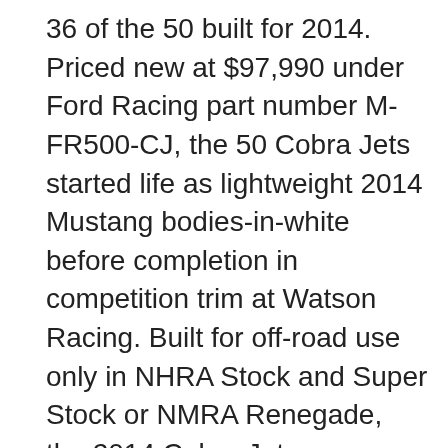36 of the 50 built for 2014. Priced new at $97,990 under Ford Racing part number M-FR500-CJ, the 50 Cobra Jets started life as lightweight 2014 Mustang bodies-in-white before completion in competition trim at Watson Racing. Built for off-road use only in NHRA Stock and Super Stock or NMRA Renegade, the 2014 Cobra Jets were capable of eight-second quarter-mile ETs right from the factory thanks to their supercharged 5.0-liter TiVCT engines, 3-speed race transmissions, and Strange Engineering nine-inch rear ends with 4.88:1 gears. To withstand the boost from the 2.9-liter Ford Racing/Whipple supercharger, the short-block was strengthened with forged crankshaft, Manley H-beam connecting rods, and Mahle forged pistons. Aided by CNC-ported heads,